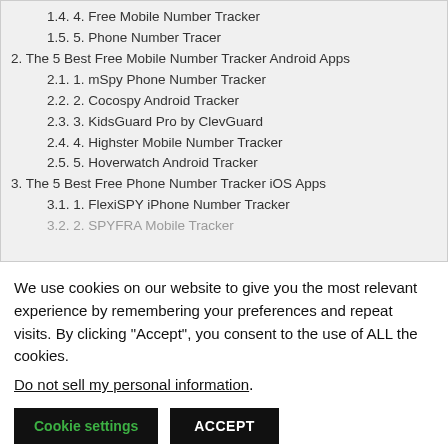1.4. 4. Free Mobile Number Tracker
1.5. 5. Phone Number Tracer
2. The 5 Best Free Mobile Number Tracker Android Apps
2.1. 1. mSpy Phone Number Tracker
2.2. 2. Cocospy Android Tracker
2.3. 3. KidsGuard Pro by ClevGuard
2.4. 4. Highster Mobile Number Tracker
2.5. 5. Hoverwatch Android Tracker
3. The 5 Best Free Phone Number Tracker iOS Apps
3.1. 1. FlexiSPY iPhone Number Tracker
3.2. 2. SPYFRA Mobile Tracker
We use cookies on our website to give you the most relevant experience by remembering your preferences and repeat visits. By clicking "Accept", you consent to the use of ALL the cookies.
Do not sell my personal information.